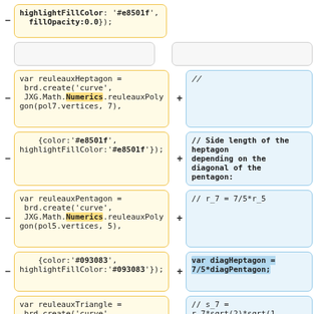highlightFillColor: '#e8501f', fillOpacity:0.0});
//
var reuleauxHeptagon = brd.create('curve', JXG.Math.Numerics.reuleauxPolygon(pol7.vertices, 7),
//
{color:'#e8501f', highlightFillColor:'#e8501f'});
// Side length of the heptagon depending on the diagonal of the pentagon:
var reuleauxPentagon = brd.create('curve', JXG.Math.Numerics.reuleauxPolygon(pol5.vertices, 5),
// r_7 = 7/5*r_5
{color:'#093083', highlightFillColor:'#093083'});
var diagHeptagon = 7/5*diagPentagon;
var reuleauxTriangle = brd.create('curve', JXG.Math.Numerics.reuleauxPolygon(pol3.vertices, 3),
// s_7 = r_7*sqrt(2)*sqrt(1-cos(pi/7)) (law of cosines)